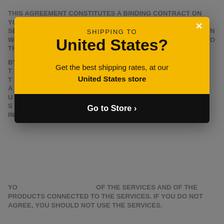THIS AGREEMENT CONSTITUTES A BINDING CONTRACT ON YOU AND GOVERNS YOUR USE OF AND ACCESS TO THE SERVICES BY YOU AND END-USERS WHETHER IN CONNECTION WITH A PAID SUBSCRIPTION OR FREE TRIAL SUBSCRIPTION TO THE SERVICES.
BY ... THE ... THE ... ACCESSING ... USING ... SERVICES ... IN...
[Figure (screenshot): Modal popup dialog with yellow header showing 'SHIPPING TO United States?' and subtitle 'Get the best shipping rates, at our United States store', with a black button 'Go to Store ›' and a white X close button.]
YOU ... OF THE SERVICES AND OF THE PRODUCTS CONNECTED TO THE SERVICES. IF YOU DO NOT AGREE, YOU SHOULD NOT USE THE SERVICES.